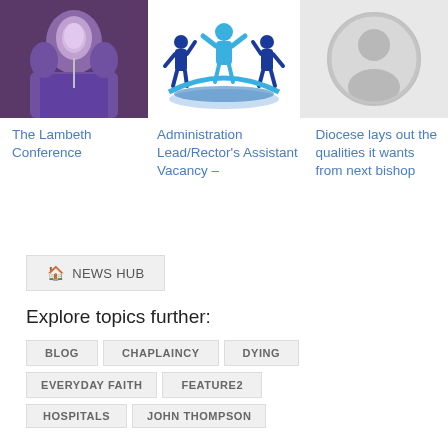[Figure (photo): Photo of a bishop wearing purple robes and a cross]
[Figure (logo): Blue logo with figures and a child raising arms, semicircle base]
[Figure (illustration): Grey placeholder person/profile icon]
The Lambeth Conference
Administration Lead/Rector's Assistant Vacancy –
Diocese lays out the qualities it wants from next bishop
🏠 NEWS HUB
Explore topics further:
BLOG
CHAPLAINCY
DYING
EVERYDAY FAITH
FEATURE2
HOSPITALS
JOHN THOMPSON
MINISTRY
ONE DIOCESE
ONEDIOCESE
PENTECOST
RELIGION
... MORE TAGS